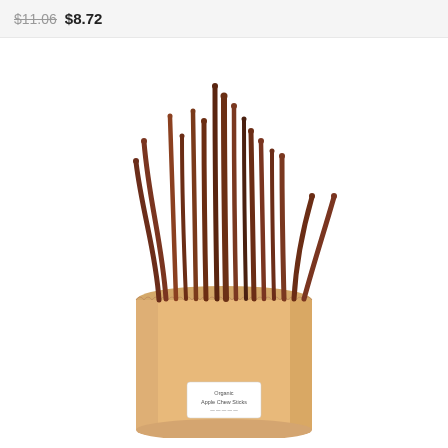$11.06 $872
[Figure (photo): A kraft paper bag filled with organic apple chew sticks (twigs), standing upright on a white background. The label on the bag reads 'Organic Apple Chew Sticks'.]